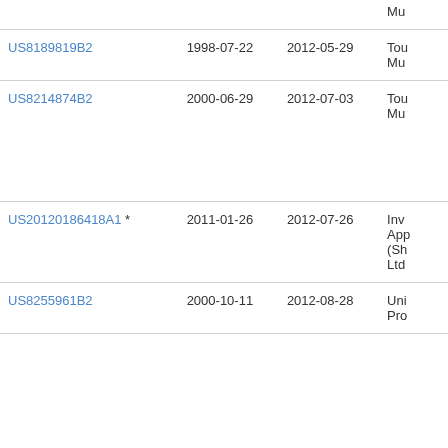| Patent Number | Filed | Publication Date | Assignee |
| --- | --- | --- | --- |
| (continued, cut off) |  |  | Mu... |
| US8189819B2 | 1998-07-22 | 2012-05-29 | Tou... Mu... |
| US8214874B2 | 2000-06-29 | 2012-07-03 | Tou... Mu... |
| US20120186418A1 * | 2011-01-26 | 2012-07-26 | Inv... App... (Sh... Ltd... |
| US8255961B2 | 2000-10-11 | 2012-08-28 | Uni... Pro... |